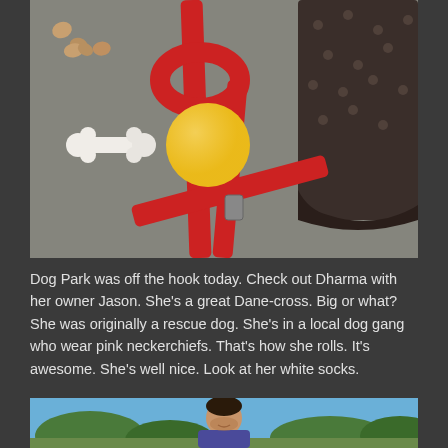[Figure (photo): Photo of dog walking items laid out on pavement: red leash/harness, yellow ball, white bone-shaped treat, dog treats, and a dark patterned waste bag]
Dog Park was off the hook today. Check out Dharma with her owner Jason. She's a great Dane-cross. Big or what? She was originally a rescue dog. She's in a local dog gang who wear pink neckerchiefs. That's how she rolls. It's awesome. She's well nice. Look at her white socks.
[Figure (photo): Partial photo showing a man (Jason) standing outdoors at a dog park with trees and sky in the background]